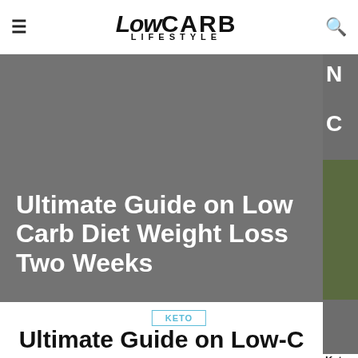Low Carb Lifestyle
[Figure (screenshot): Hero banner with gray background showing article title: Ultimate Guide on Low Carb Diet Weight Loss Two Weeks]
Ultimate Guide on Low Carb Diet Weight Loss Two Weeks
KETO
Ultimate Guide on Low-Carb Diet Weight Loss for Two Weeks